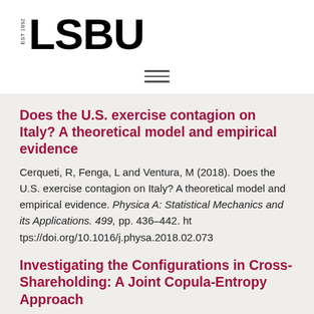LSBU EST 1892
Does the U.S. exercise contagion on Italy? A theoretical model and empirical evidence
Cerqueti, R, Fenga, L and Ventura, M (2018). Does the U.S. exercise contagion on Italy? A theoretical model and empirical evidence. Physica A: Statistical Mechanics and its Applications. 499, pp. 436-442. https://doi.org/10.1016/j.physa.2018.02.073
Investigating the Configurations in Cross-Shareholding: A Joint Copula-Entropy Approach
Cerqueti, R, Rotundo, G and Ausloos, M (2018).